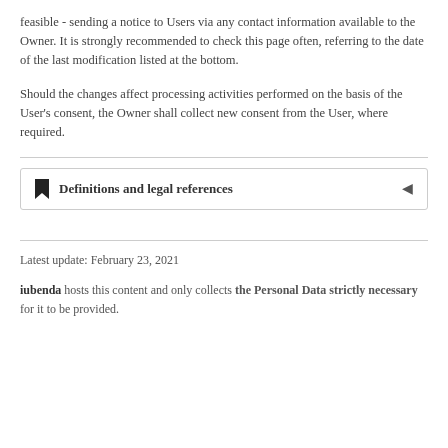feasible - sending a notice to Users via any contact information available to the Owner. It is strongly recommended to check this page often, referring to the date of the last modification listed at the bottom.
Should the changes affect processing activities performed on the basis of the User's consent, the Owner shall collect new consent from the User, where required.
Definitions and legal references
Latest update: February 23, 2021
iubenda hosts this content and only collects the Personal Data strictly necessary for it to be provided.